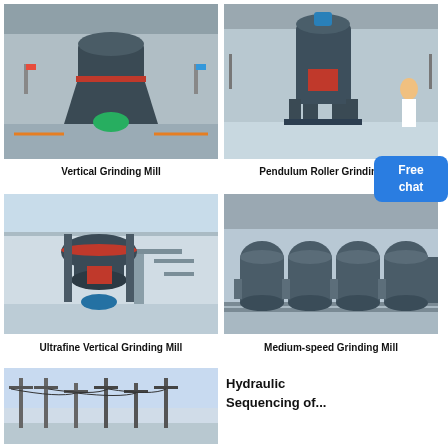[Figure (photo): Vertical Grinding Mill machine in a factory warehouse setting, large dark grey industrial machine]
Vertical Grinding Mill
[Figure (photo): Pendulum Roller Grinding Mill machine in a large industrial hall]
Pendulum Roller Grinding M...
[Figure (photo): Ultrafine Vertical Grinding Mill machine in a bright factory]
Ultrafine Vertical Grinding Mill
[Figure (photo): Multiple Medium-speed Grinding Mill machines lined up in a large factory warehouse]
Medium-speed Grinding Mill
[Figure (photo): Hydraulic machinery or structures outdoors, partial view]
Hydraulic Sequencing of...